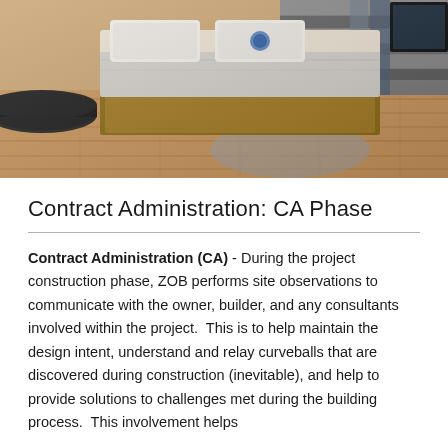[Figure (photo): Interior photo of a bedroom/living space with a bed covered in a light grey blanket, wooden floor, reclaimed wood panel wall feature, a dark round side table on the left, and a plush grey rug. A blue logo is partially visible on the pillow.]
Contract Administration: CA Phase
Contract Administration (CA) - During the project construction phase, ZOB performs site observations to communicate with the owner, builder, and any consultants involved within the project.  This is to help maintain the design intent, understand and relay curveballs that are discovered during construction (inevitable), and help to provide solutions to challenges met during the building process.  This involvement helps